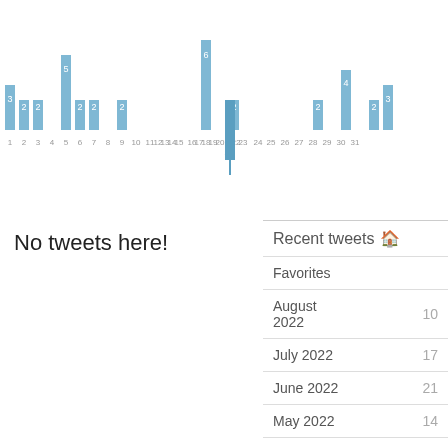[Figure (bar-chart): Tweets per day]
No tweets here!
Recent tweets
Favorites
August 2022  10
July 2022  17
June 2022  21
May 2022  14
April 2022  17
March 2022  25
February 2022  18
January 2022  22